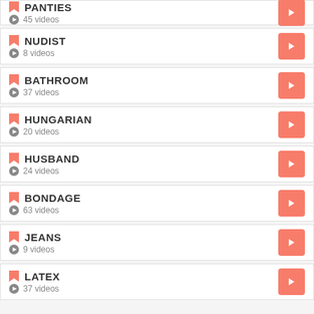PANTIES — 45 videos
NUDIST — 8 videos
BATHROOM — 37 videos
HUNGARIAN — 20 videos
HUSBAND — 24 videos
BONDAGE — 63 videos
JEANS — 9 videos
LATEX — 37 videos